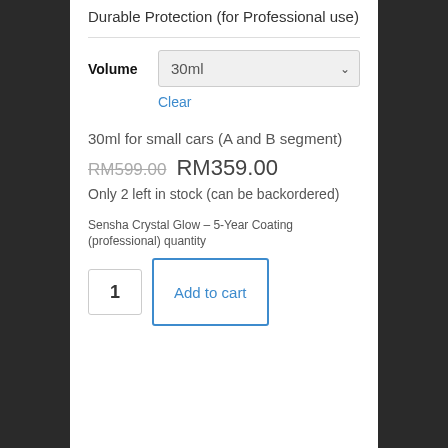Durable Protection (for Professional use)
Volume: 30ml
Clear
30ml for small cars (A and B segment)
RM599.00 RM359.00
Only 2 left in stock (can be backordered)
Sensha Crystal Glow – 5-Year Coating (professional) quantity
1  Add to cart